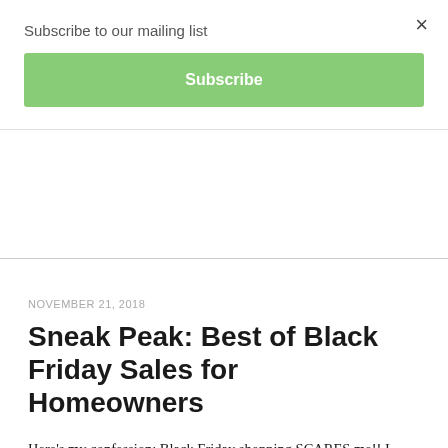Subscribe to our mailing list
Subscribe
×
NOVEMBER 21, 2018
Sneak Peak: Best of Black Friday Sales for Homeowners
Here's my confession: Black Friday shopping SCARES me!! I have never been into Black Friday shopping. It's overwhelms me with all of the people hustling and bustling everywhere I'm more of a Cyber